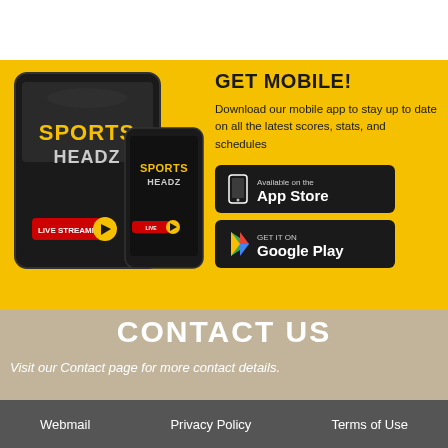[Figure (illustration): Tablet and smartphone showing Sports Headz app with LIVE streaming logo]
GET MOBILE!
Download our mobile app to stay up to date on all the latest scores, stats, and schedules
[Figure (logo): Available on the App Store button]
[Figure (logo): GET IT ON Google Play button]
CONTACT US
Visit our Contact page for more contact details.
Webmail   Privacy Policy   Terms of Use